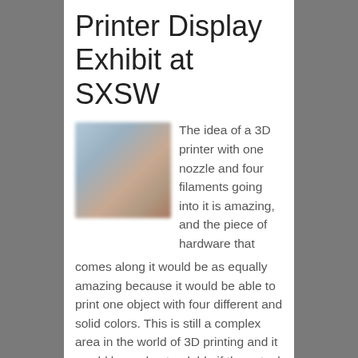Printer Display Exhibit at SXSW
[Figure (photo): Blurred photo of people at an exhibit or event, likely at SXSW]
The idea of a 3D printer with one nozzle and four filaments going into it is amazing, and the piece of hardware that comes along it would be as equally amazing because it would be able to print one object with four different and solid colors. This is still a complex area in the world of 3D printing and it would be understandable if the actual printer was